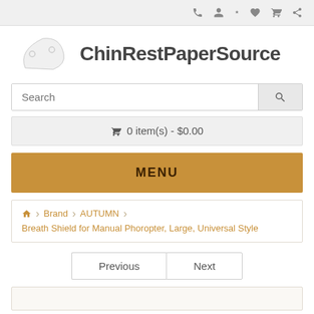Top navigation bar with phone, account, wishlist, cart, share icons
[Figure (logo): ChinRestPaperSource logo with white chin rest paper icon and bold text]
Search
0 item(s) - $0.00
MENU
Home > Brand > AUTUMN > Breath Shield for Manual Phoropter, Large, Universal Style
Previous | Next